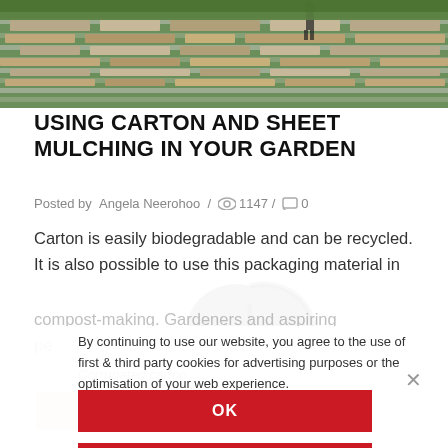[Figure (photo): Aerial view of garden raised beds with cardboard sheet mulching laid between rows, person visible in background]
USING CARTON AND SHEET MULCHING IN YOUR GARDEN
Posted by  Angela Neerohoo  /  👁 1147 /  💬 0
Carton is easily biodegradable and can be recycled. It is also possible to use this packaging material in compost-making. Gardeners and aspiring pe...
By continuing to use our website, you agree to the use of first & third party cookies for advertising purposes or the optimisation of your web experience.
CONTINUE READING
OK
Corrugated carton...
PRIVACY POLICY